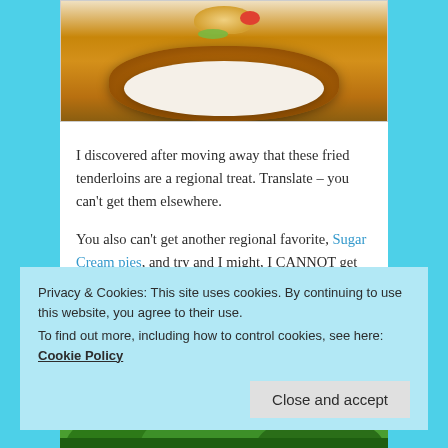[Figure (photo): Photo of a large breaded fried tenderloin sandwich on a plate, with bun, pickles, and tomato on top]
I discovered after moving away that these fried tenderloins are a regional treat. Translate – you can't get them elsewhere.
You also can't get another regional favorite, Sugar Cream pies, and try and I might, I CANNOT get them to taste right.
Privacy & Cookies: This site uses cookies. By continuing to use this website, you agree to their use.
To find out more, including how to control cookies, see here: Cookie Policy
[Figure (photo): Bottom portion of an outdoor photo showing green trees]